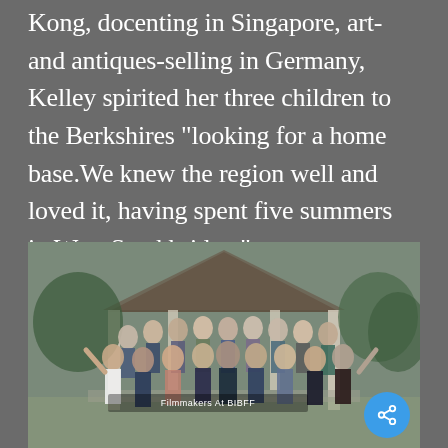Kong, docenting in Singapore, art- and antiques-selling in Germany, Kelley spirited her three children to the Berkshires “looking for a home base.We knew the region well and loved it, having spent five summers in West Stockbridge.”
[Figure (photo): Group photo of filmmakers at BIBFF, standing under a gazebo/pavilion outdoors. Approximately 30 people, some waving at the camera. Text overlay reads 'Filmmakers At BIBFF'. A blue circular share button is visible in the bottom right corner.]